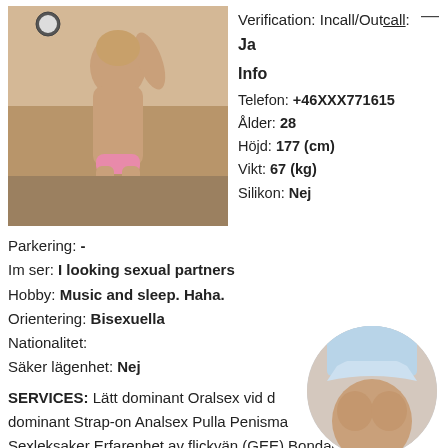[Figure (photo): Woman posing on a sofa, seen from behind, wearing pink underwear and pink socks]
Verification: Incall/Outcall:
Ja
Info
Telefon: +46XXX771615
Ålder: 28
Höjd: 177 (cm)
Vikt: 67 (kg)
Silikon: Nej
Parkering: -
Im ser: I looking sexual partners
Hobby: Music and sleep. Haha.
Orientering: Bisexuella
Nationalitet:
Säker lägenhet: Nej
SERVICES: Lätt dominant Oralsex vid d... dominant Strap-on Analsex Pulla Penisma... Sexleksaker Erfarenhet av flickvän (GEE) Bondage
[Figure (photo): Circular thumbnail photo showing a woman's torso]